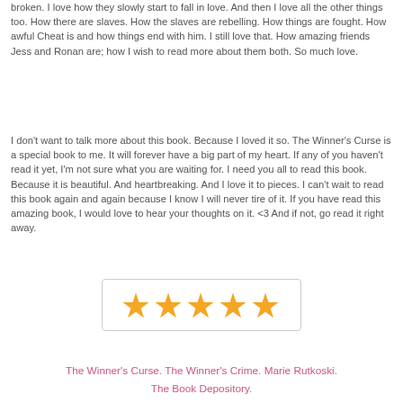broken. I love how they slowly start to fall in love. And then I love all the other things too. How there are slaves. How the slaves are rebelling. How things are fought. How awful Cheat is and how things end with him. I still love that. How amazing friends Jess and Ronan are; how I wish to read more about them both. So much love.
I don't want to talk more about this book. Because I loved it so. The Winner's Curse is a special book to me. It will forever have a big part of my heart. If any of you haven't read it yet, I'm not sure what you are waiting for. I need you all to read this book. Because it is beautiful. And heartbreaking. And I love it to pieces. I can't wait to read this book again and again because I know I will never tire of it. If you have read this amazing book, I would love to hear your thoughts on it. <3 And if not, go read it right away.
[Figure (other): Five gold/orange star rating symbols displayed in a bordered box]
The Winner's Curse. The Winner's Crime. Marie Rutkoski. The Book Depository.